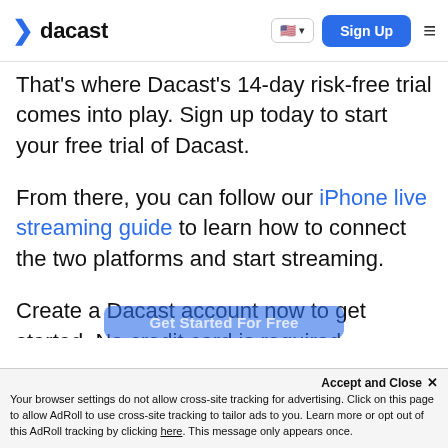dacast — Sign Up
That's where Dacast's 14-day risk-free trial comes into play. Sign up today to start your free trial of Dacast.
From there, you can follow our iPhone live streaming guide to learn how to connect the two platforms and start streaming.
Create a Dacast account now to get started. No credit card is required.
Accept and Close ✕ Your browser settings do not allow cross-site tracking for advertising. Click on this page to allow AdRoll to use cross-site tracking to tailor ads to you. Learn more or opt out of this AdRoll tracking by clicking here. This message only appears once.